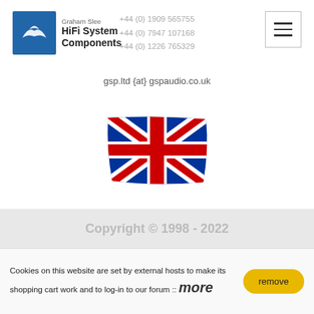[Figure (logo): Graham Slee HiFi System Components logo with blue bird icon]
+44 (0) 1909 565755
+44 (0) 7947 107168
+44 (0) 1226 765329
gsp.ltd {at} gspaudio.co.uk
[Figure (photo): UK Union Jack flag waving]
MADE IN BRITAIN
Our audio components are designed and handmade in Britain for your listening pleasure
Copyright © 1998 - 2022
Cookies on this website are set by external hosts to make its shopping cart work and to log-in to our forum :: more